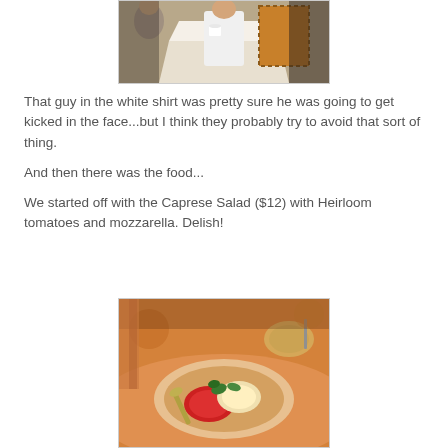[Figure (photo): Top portion of a restaurant scene showing a person in a white shirt and another in a plaid jacket near a table with white tablecloth]
That guy in the white shirt was pretty sure he was going to get kicked in the face...but I think they probably try to avoid that sort of thing.
And then there was the food...
We started off with the Caprese Salad ($12) with Heirloom tomatoes and mozzarella. Delish!
[Figure (photo): A plate of Caprese Salad with heirloom tomatoes and mozzarella on a restaurant table with warm orange lighting]